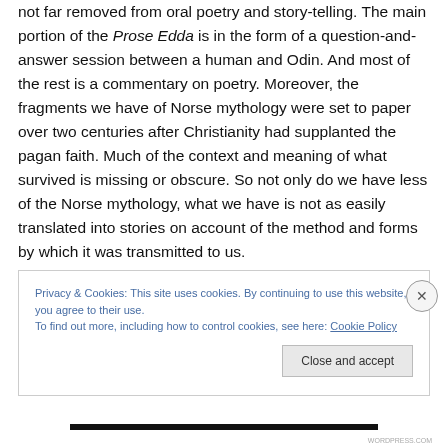not far removed from oral poetry and story-telling. The main portion of the Prose Edda is in the form of a question-and-answer session between a human and Odin. And most of the rest is a commentary on poetry. Moreover, the fragments we have of Norse mythology were set to paper over two centuries after Christianity had supplanted the pagan faith. Much of the context and meaning of what survived is missing or obscure. So not only do we have less of the Norse mythology, what we have is not as easily translated into stories on account of the method and forms by which it was transmitted to us.
Privacy & Cookies: This site uses cookies. By continuing to use this website, you agree to their use.
To find out more, including how to control cookies, see here: Cookie Policy
Close and accept